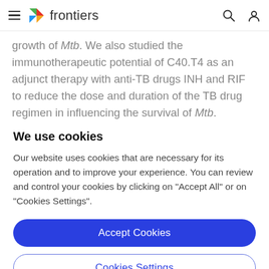frontiers
growth of Mtb. We also studied the immunotherapeutic potential of C40.T4 as an adjunct therapy with anti-TB drugs INH and RIF to reduce the dose and duration of the TB drug regimen in influencing the survival of Mtb. Following major findings have emerged from this study
We use cookies
Our website uses cookies that are necessary for its operation and to improve your experience. You can review and control your cookies by clicking on "Accept All" or on "Cookies Settings".
Accept Cookies
Cookies Settings